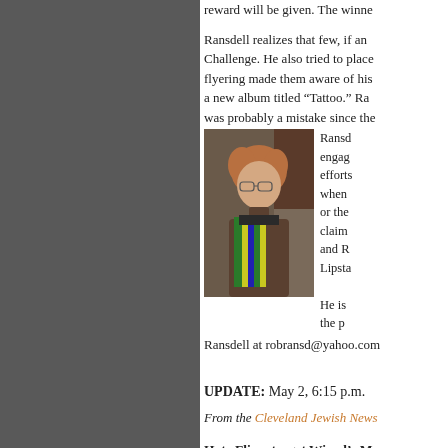reward will be given. The winne...
Ransdell realizes that few, if an... Challenge. He also tried to place... flyering made them aware of his... a new album titled “Tattoo.” Ra... was probably a mistake since the...
[Figure (photo): Photo of a person with curly reddish-brown hair wearing glasses, a brown jacket and a colorful green/yellow/blue striped scarf.]
Ransd... engag... efforts... when... or the... claim... and R... Lipsta...
He is... the p... Ransdell at robransd@yahoo.com...
UPDATE: May 2, 6:15 p.m.
From the Cleveland Jewish News...
Hate Fliers target Wiesel’s May...
MARILYN H. KARFELD